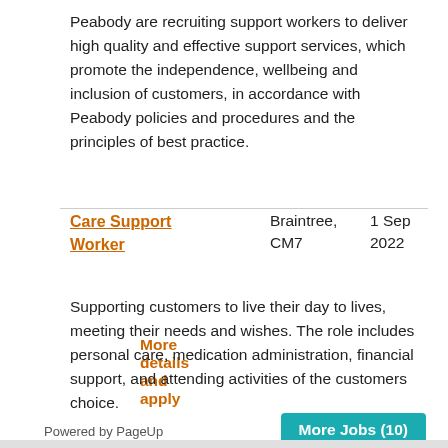Peabody are recruiting support workers to deliver high quality and effective support services, which promote the independence, wellbeing and inclusion of customers, in accordance with Peabody policies and procedures and the principles of best practice.
More details and apply
| Job Title | Location | Date |
| --- | --- | --- |
| Care Support Worker | Braintree, CM7 | 1 Sep 2022 |
Supporting customers to live their day to lives, meeting their needs and wishes. The role includes personal care, medication administration, financial support, and attending activities of the customers choice.
More details and apply
More Jobs (10)
Powered by PageUp